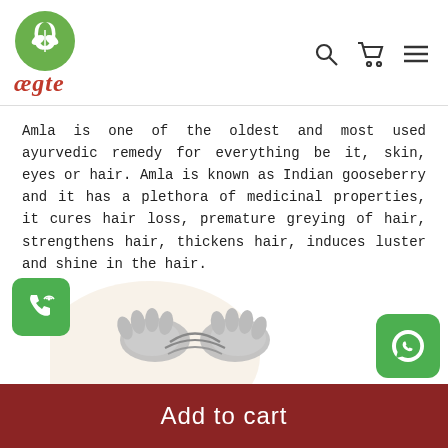ægte
Amla is one of the oldest and most used ayurvedic remedy for everything be it, skin, eyes or hair. Amla is known as Indian gooseberry and it has a plethora of medicinal properties, it cures hair loss, premature greying of hair, strengthens hair, thickens hair, induces luster and shine in the hair.
How to Apply:
[Figure (illustration): Illustration of hands applying hair oil/product to hair]
Add to cart